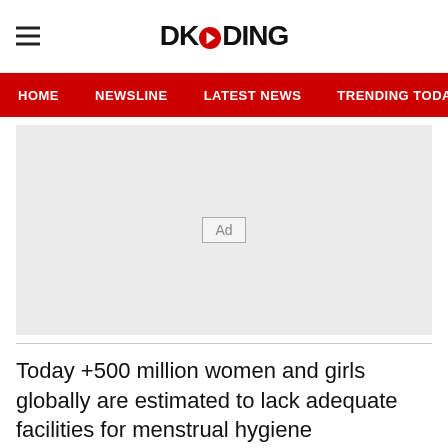DKODING
HOME  NEWSLINE  LATEST NEWS  TRENDING TODAY  ENT
[Figure (other): Advertisement placeholder box with 'Ad' label]
Today +500 million women and girls globally are estimated to lack adequate facilities for menstrual hygiene management. This puts women and their families at greater risk of